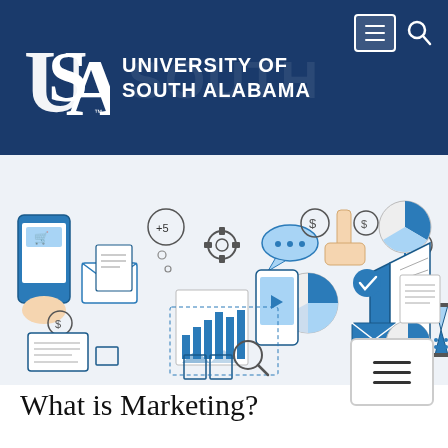[Figure (logo): University of South Alabama logo — USA monogram with university name text on dark navy blue background header]
[Figure (illustration): Marketing concepts illustration: icons depicting mobile shopping, email marketing, bar charts, pie charts, megaphone/bullhorn, smartphone with video, analytics, social media, dollar signs, gears, speech bubbles — all in blue and white line-art style]
[Figure (other): Hamburger menu icon button in lower right area]
What is Marketing?